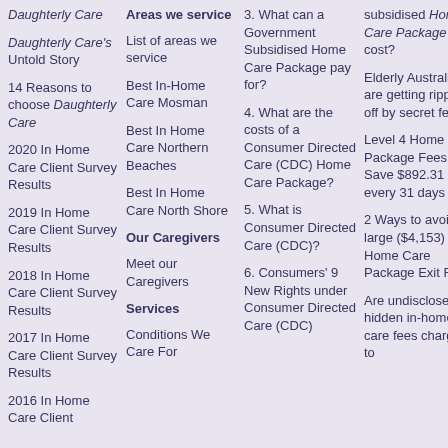Daughterly Care
Daughterly Care's Untold Story
14 Reasons to choose Daughterly Care
2020 In Home Care Client Survey Results
2019 In Home Care Client Survey Results
2018 In Home Care Client Survey Results
2017 In Home Care Client Survey Results
2016 In Home Care Client
Areas we service
List of areas we service
Best In-Home Care Mosman
Best In Home Care Northern Beaches
Best In Home Care North Shore
Our Caregivers
Meet our Caregivers
Services
Conditions We Care For
3. What can a Government Subsidised Home Care Package pay for?
4. What are the costs of a Consumer Directed Care (CDC) Home Care Package?
5. What is Consumer Directed Care (CDC)?
6. Consumers' 9 New Rights under Consumer Directed Care (CDC)
subsidised Home Care Package cost?
Elderly Australians are getting ripped off by secret fees
Level 4 Home Care Package Fees - Save $892.31 every 31 days
2 Ways to avoid large ($4,153) Home Care Package Exit Fees
Are undisclosed hidden in-home care fees charged to